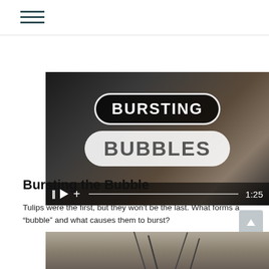[Figure (screenshot): Hamburger menu icon with three horizontal lines in dark teal color]
[Figure (screenshot): Video thumbnail showing 'Bursting Bubbles' title with pill-shaped overlays on a dark background with video playback controls showing 1:25 duration]
Bursting the Bubble
Tulips were the first, but they won't be the last. What forms a “bubble” and what causes them to burst?
[Figure (photo): Partial view of a photo showing pointed metallic or spike-like shapes against a grey-brown sky, cropped at the bottom of the page]